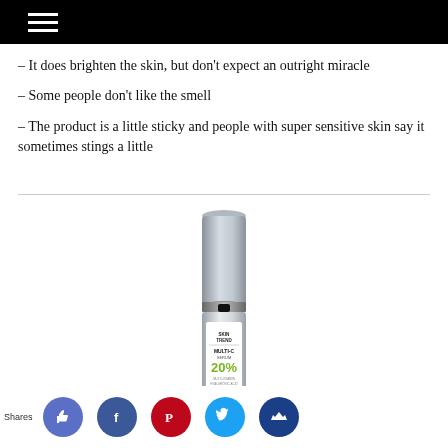– It does brighten the skin, but don’t expect an outright miracle
– Some people don’t like the smell
– The product is a little sticky and people with super sensitive skin say it sometimes stings a little
[Figure (photo): Skincare product bottle: Skin Trend Multi-C Serum 20%, silver pump bottle with white label]
Shares